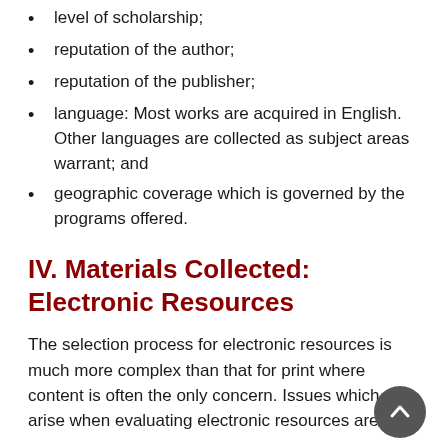level of scholarship;
reputation of the author;
reputation of the publisher;
language: Most works are acquired in English. Other languages are collected as subject areas warrant; and
geographic coverage which is governed by the programs offered.
IV. Materials Collected: Electronic Resources
The selection process for electronic resources is much more complex than that for print where content is often the only concern. Issues which arise when evaluating electronic resources are:
licensing terms;